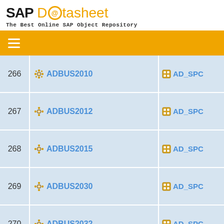SAP Datasheet - The Best Online SAP Object Repository
| # | Name | Reference |
| --- | --- | --- |
| 266 | ADBUS2010 | AD_SPC... |
| 267 | ADBUS2012 | AD_SPC... |
| 268 | ADBUS2015 | AD_SPC... |
| 269 | ADBUS2030 | AD_SPC... |
| 270 | ADBUS2032 | AD_SPC... |
| 271 | ADBUS2040 | ADS2KI... |
| 272 | ADBUS2081 | AD_SPC... |